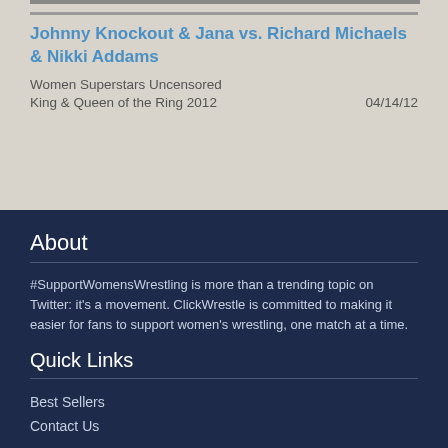[Figure (photo): Thumbnail image strip at the top of the card]
Johnny Knockout & Jana vs. Richard Michaels & Nikki Addams
Women Superstars Uncensored
King & Queen of the Ring 2012    04/14/12
About
#SupportWomensWrestling is more than a trending topic on Twitter: it's a movement. ClickWrestle is committed to making it easier for fans to support women's wrestling, one match at a time.
Quick Links
Best Sellers
Contact Us